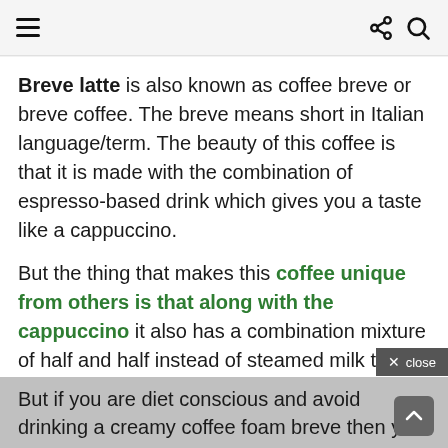≡  share  search
Breve latte is also known as coffee breve or breve coffee. The breve means short in Italian language/term. The beauty of this coffee is that it is made with the combination of espresso-based drink which gives you a taste like a cappuccino.
But the thing that makes this coffee unique from others is that along with the cappuccino it also has a combination mixture of half and half instead of steamed milk that gives you a creamy foam layer.
× close
But if you are diet conscious and avoid drinking a creamy coffee foam breve then you can get a sugarless Breve latte.